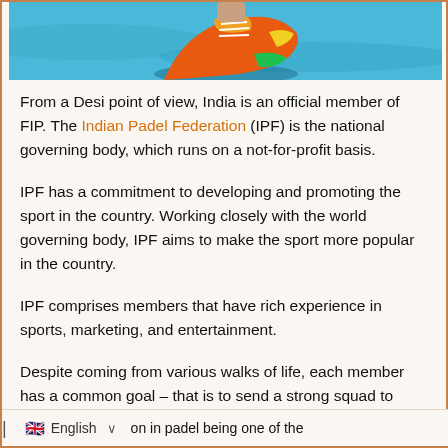[Figure (photo): Cropped photo showing a colorful athletic shoe/sneaker against a bright blue background (possibly a padel court surface)]
From a Desi point of view, India is an official member of FIP. The Indian Padel Federation (IPF) is the national governing body, which runs on a not-for-profit basis.
IPF has a commitment to developing and promoting the sport in the country. Working closely with the world governing body, IPF aims to make the sport more popular in the country.
IPF comprises members that have rich experience in sports, marketing, and entertainment.
Despite coming from various walks of life, each member has a common goal – that is to send a strong squad to every big padel tournament globally.
| 🇬🇧 English ∨ on in padel being one of the